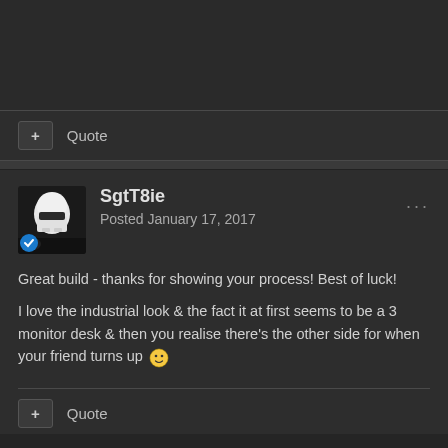+ Quote
SgtT8ie
Posted January 17, 2017
Great build - thanks for showing your process!  Best of luck!
I love the industrial look & the fact it at first seems to be a 3 monitor desk & then you realise there's the other side for when your friend turns up 🙂
+ Quote